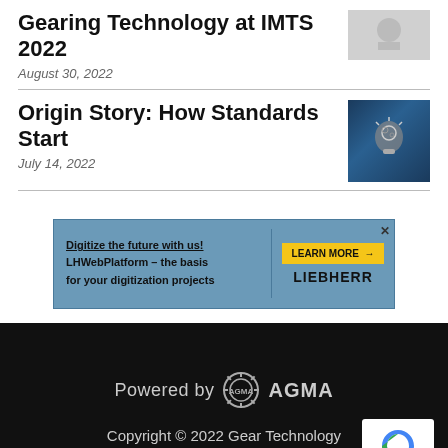Gearing Technology at IMTS 2022
August 30, 2022
Origin Story: How Standards Start
July 14, 2022
[Figure (infographic): Advertisement: Digitize the future with us! LHWebPlatform – the basis for your digitization projects. LEARN MORE button. LIEBHERR brand name.]
Powered by AGMA
Copyright © 2022 Gear Technology